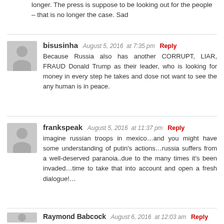longer. The press is suppose to be looking out for the people – that is no longer the case. Sad
bisusinha August 5, 2016 at 7:35 pm Reply
Because Russia also has another CORRUPT, LIAR, FRAUD Donald Trump as their leader, who is looking for money in every step he takes and dose not want to see the any human is in peace.
frankspeak August 5, 2016 at 11:37 pm Reply
imagine russian troops in mexico…and you might have some understanding of putin's actions…russia suffers from a well-deserved paranoia..due to the many times it's been invaded…time to take that into account and open a fresh dialogue!…
Raymond Babcock August 6, 2016 at 12:03 am Reply